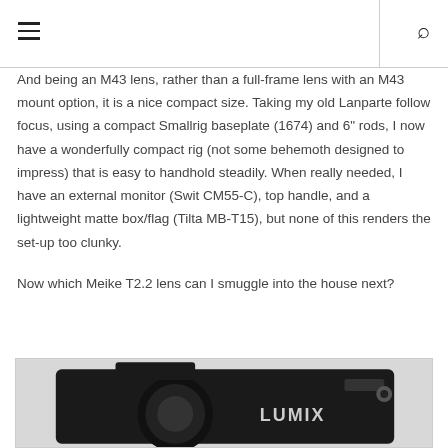☰  🔍
And being an M43 lens, rather than a full-frame lens with an M43 mount option, it is a nice compact size. Taking my old Lanparte follow focus, using a compact Smallrig baseplate (1674) and 6" rods, I now have a wonderfully compact rig (not some behemoth designed to impress) that is easy to handhold steadily. When really needed, I have an external monitor (Swit CM55-C), top handle, and a lightweight matte box/flag (Tilta MB-T15), but none of this renders the set-up too clunky.
Now which Meike T2.2 lens can I smuggle into the house next?
[Figure (photo): Photograph of a Lumix camera body (partially visible), showing the top portion with LUMIX branding on a grey background.]